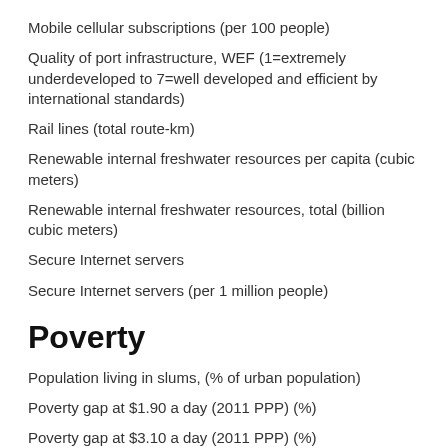Mobile cellular subscriptions (per 100 people)
Quality of port infrastructure, WEF (1=extremely underdeveloped to 7=well developed and efficient by international standards)
Rail lines (total route-km)
Renewable internal freshwater resources per capita (cubic meters)
Renewable internal freshwater resources, total (billion cubic meters)
Secure Internet servers
Secure Internet servers (per 1 million people)
Poverty
Population living in slums, (% of urban population)
Poverty gap at $1.90 a day (2011 PPP) (%)
Poverty gap at $3.10 a day (2011 PPP) (%)
Poverty headcount ratio at $1.90 a day (2011 PPP) (% of population)
Poverty headcount ratio at $3.10 a day (2011 PPP) (% of